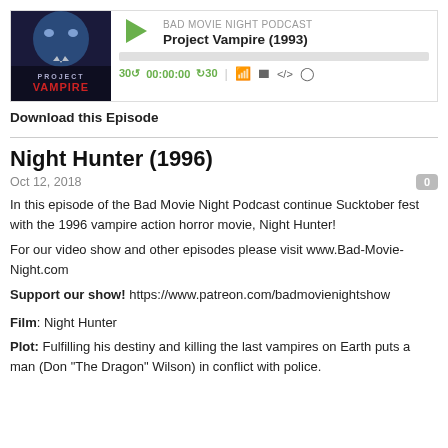[Figure (screenshot): Podcast audio player widget showing album art for 'Project Vampire', a green play button, podcast name 'BAD MOVIE NIGHT PODCAST', episode title 'Project Vampire (1993)', progress bar, time controls '30 00:00:00 30' and playback icons]
Download this Episode
Night Hunter (1996)
Oct 12, 2018
In this episode of the Bad Movie Night Podcast continue Sucktober fest with the 1996 vampire action horror movie, Night Hunter!
For our video show and other episodes please visit www.Bad-Movie-Night.com
Support our show! https://www.patreon.com/badmovienightshow
Film: Night Hunter
Plot: Fulfilling his destiny and killing the last vampires on Earth puts a man (Don "The Dragon" Wilson) in conflict with police.